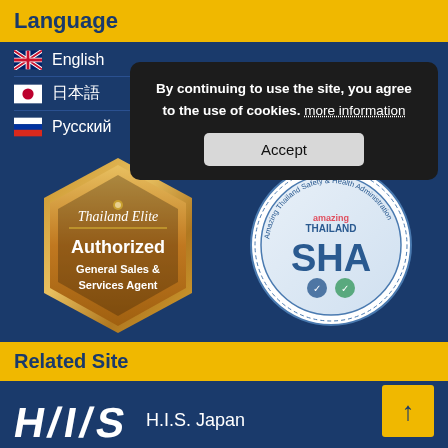Language
English
日本語
Русский
By continuing to use the site, you agree to the use of cookies. more information
Accept
[Figure (logo): Thailand Elite Authorized General Sales & Services Agent gold hexagon badge]
[Figure (logo): Amazing Thailand Safety & Health Administration (SHA) circular seal badge]
Related Site
[Figure (logo): H.I.S. Japan logo - white slanted letters H, I, S on dark blue background]
H.I.S. Japan